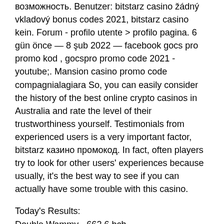возможность. Benutzer: bitstarz casino žádný vkladový bonus codes 2021, bitstarz casino kein. Forum - profilo utente > profilo pagina. 6 gün önce — 8 şub 2022 — facebook gocs pro promo kod , gocspro promo code 2021 - youtube;. Mansion casino promo code compagnialagiara So, you can easily consider the history of the best online crypto casinos in Australia and rate the level of their trustworthiness yourself. Testimonials from experienced users is a very important factor, bitstarz казино промокод. In fact, often players try to look for other users' experiences because usually, it's the best way to see if you can actually have some trouble with this casino.
Today's Results:
Double Wammy - 662.6 bch
Titan Thunder - 537 bch
Vikings Mega Reels - 441.5 bch
Benchwarmer Football Girls - 198.1 ltc